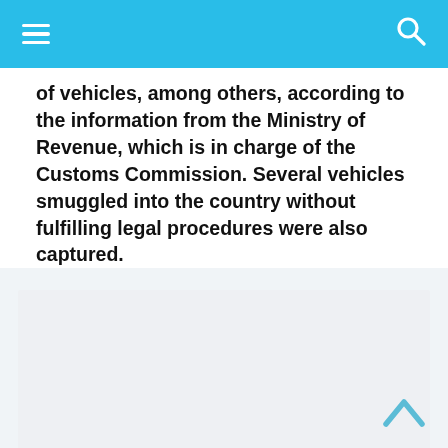Navigation bar with hamburger menu and search icon
of vehicles, among others, according to the information from the Ministry of Revenue, which is in charge of the Customs Commission. Several vehicles smuggled into the country without fulfilling legal procedures were also captured.
[Figure (photo): Placeholder image area, light gray background]